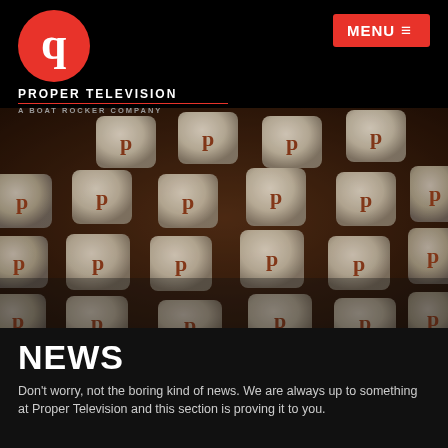[Figure (logo): Proper Television logo: red circle with reversed white letter P, brand name PROPER TELEVISION with red divider line and subtitle A BOAT ROCKER COMPANY]
[Figure (photo): Close-up photograph of vintage typewriter keys, white rounded keys with the letter p in dark red/brown, arranged in rows on a dark background with warm wood tones]
NEWS
Don't worry, not the boring kind of news. We are always up to something at Proper Television and this section is proving it to you.